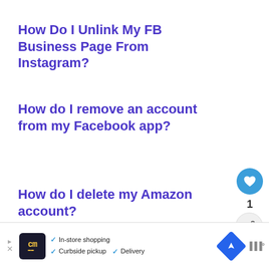How Do I Unlink My FB Business Page From Instagram?
How do I remove an account from my Facebook app?
How do I delete my Amazon account?
How do I delete...
[Figure (infographic): Social media floating action buttons: a blue circle with a heart icon (like), the number 1, and a share icon button]
[Figure (infographic): WHAT'S NEXT card with Instagram logo icon and text 'How long does...']
[Figure (infographic): Advertisement bar: cm logo, checkmarks for In-store shopping, Curbside pickup, Delivery, navigation icon, and Walmart logo]